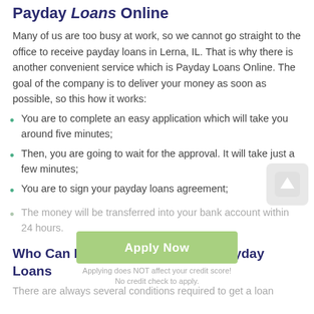Payday Loans Online
Many of us are too busy at work, so we cannot go straight to the office to receive payday loans in Lerna, IL. That is why there is another convenient service which is Payday Loans Online. The goal of the company is to deliver your money as soon as possible, so this how it works:
You are to complete an easy application which will take you around five minutes;
Then, you are going to wait for the approval. It will take just a few minutes;
You are to sign your payday loans agreement;
The money will be transferred into your bank account within 24 hours.
Who Can Receive Lerna, Illinois Payday Loans
There are always several conditions required to get a loan